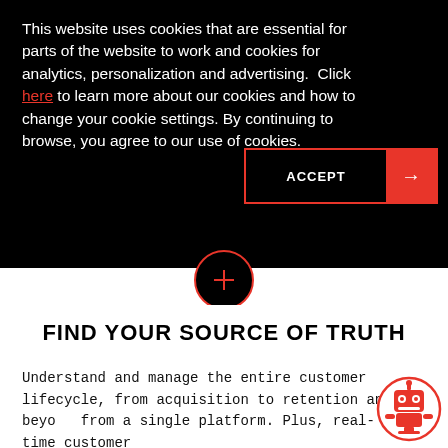This website uses cookies that are essential for parts of the website to work and cookies for analytics, personalization and advertising.  Click here to learn more about our cookies and how to change your cookie settings. By continuing to browse, you agree to our use of cookies.
[Figure (other): ACCEPT button with red arrow on right side, bordered with red outline]
[Figure (other): Red circle outline with a plus/cross symbol inside, serving as a section divider between black and white sections]
FIND YOUR SOURCE OF TRUTH
Understand and manage the entire customer lifecycle, from acquisition to retention and beyond from a single platform. Plus, real-time customer...
[Figure (illustration): Red robot mascot icon inside a red circle outline, positioned at bottom right]